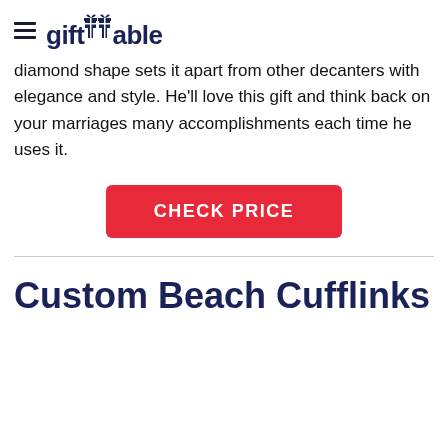giftTable
diamond shape sets it apart from other decanters with elegance and style. He'll love this gift and think back on your marriages many accomplishments each time he uses it.
[Figure (other): Red CHECK PRICE button]
Custom Beach Cufflinks